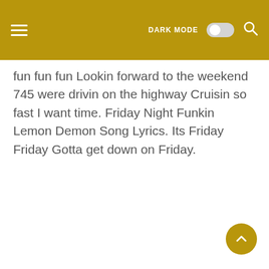DARK MODE [toggle] [search icon]
fun fun fun Lookin forward to the weekend 745 were drivin on the highway Cruisin so fast I want time. Friday Night Funkin Lemon Demon Song Lyrics. Its Friday Friday Gotta get down on Friday.